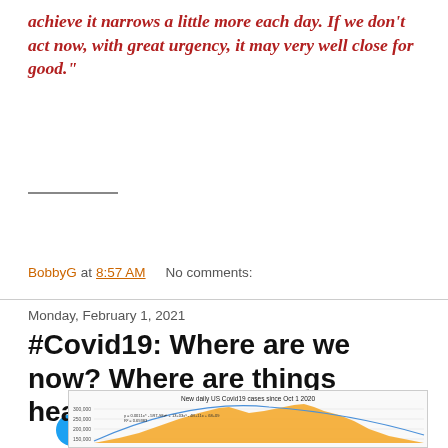achieve it narrows a little more each day. If we don't act now, with great urgency, it may very well close for good."
Tweet
BobbyG at 8:57 AM   No comments:
Monday, February 1, 2021
#Covid19: Where are we now? Where are things headed?
[Figure (continuous-plot): Area chart showing New daily US Covid19 cases since Oct 1 2020, with orange filled area and a polynomial trend curve. Y-axis shows values from 100,000 to 300,000+. The chart includes a regression equation label.]